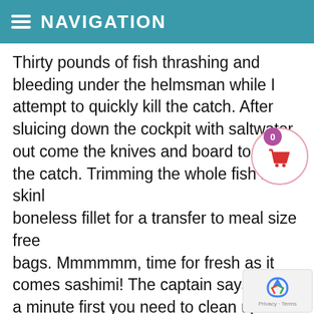NAVIGATION
Thirty pounds of fish thrashing and bleeding under the helmsman while I attempt to quickly kill the catch. After sluicing down the cockpit with saltwater, out come the knives and board to fillet the catch. Trimming the whole fish into skinless boneless fillet for a transfer to meal size freezer bags. Mmmmmm, time for fresh as it comes sashimi! The captain says: “Wait a minute first you need to clean up the cockpit!” An hour to clean up the area of every speck of viscera and blood. Who would guess all the drama that played out just a short time before with a thrashing fish!
So, thirty to sixty minutes to get the fish to the gaff, one hour to fillet and package (I might be